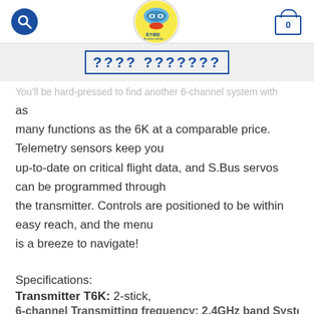BlueSky Models - navigation header with search, logo, and cart
???? ???????
You'll be hard-pressed to find another 6-channel system with as many functions as the 6K at a comparable price. Telemetry sensors keep you up-to-date on critical flight data, and S.Bus servos can be programmed through the transmitter. Controls are positioned to be within easy reach, and the menu is a breeze to navigate!
Specifications:
Transmitter T6K: 2-stick,
6-channel Transmitting frequency: 2.4GHz band System: T...